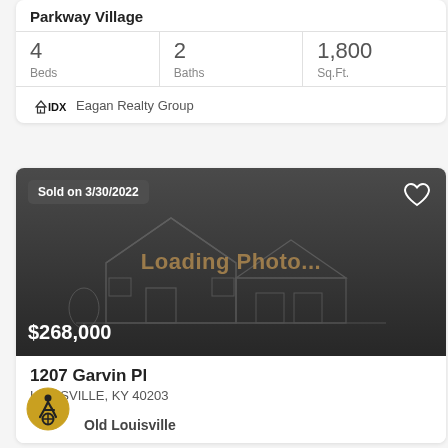Parkway Village
| Beds | Baths | Sq.Ft. |
| --- | --- | --- |
| 4 | 2 | 1,800 |
Eagan Realty Group
[Figure (photo): Property listing card with dark placeholder image showing house outline outline and 'Loading Photo...' text overlay. Sold badge 'Sold on 3/30/2022' in top left. Price $268,000 in bottom left. Heart icon top right.]
1207 Garvin Pl
LOUISVILLE, KY 40203
Old Louisville